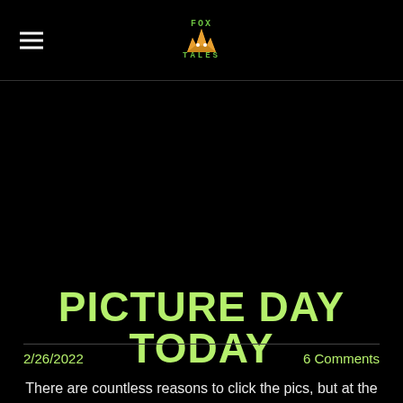FOX TALES
PICTURE DAY TODAY
2/26/2022    6 Comments
There are countless reasons to click the pics, but at the